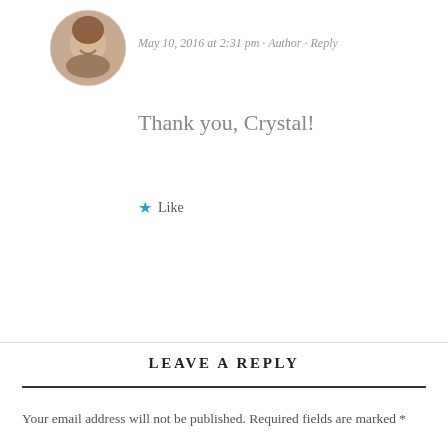[Figure (photo): Circular avatar photo of a woman with a smile, shown in top-left area of comment]
May 10, 2016 at 2:31 pm · Author · Reply
Thank you, Crystal!
★ Like
LEAVE A REPLY
Your email address will not be published. Required fields are marked *
Comment *